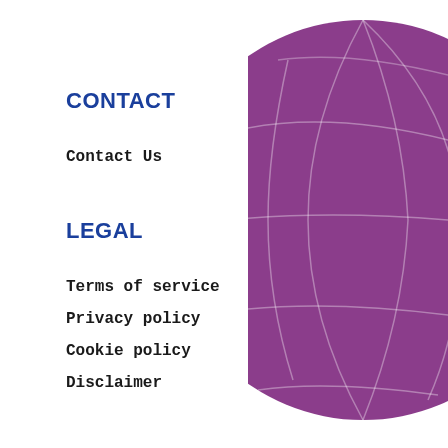CONTACT
Contact Us
LEGAL
Terms of service
Privacy policy
Cookie policy
Disclaimer
[Figure (illustration): Purple globe/sphere with white grid lines, partially visible on the right side of the page]